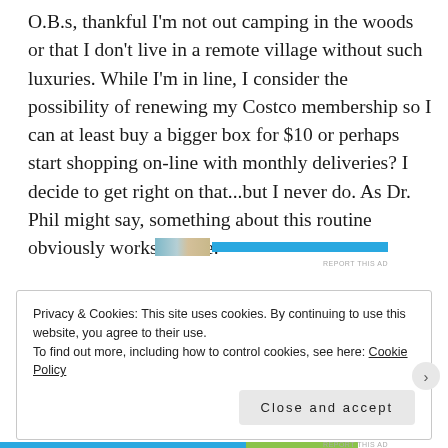O.B.s, thankful I'm not out camping in the woods or that I don't live in a remote village without such luxuries. While I'm in line, I consider the possibility of renewing my Costco membership so I can at least buy a bigger box for $10 or perhaps start shopping on-line with monthly deliveries? I decide to get right on that...but I never do. As Dr. Phil might say, something about this routine obviously works for me.
[Figure (other): Advertisement banner with blue bar and thumbnail image, with 'REPORT THIS AD' text]
Privacy & Cookies: This site uses cookies. By continuing to use this website, you agree to their use.
To find out more, including how to control cookies, see here: Cookie Policy
Close and accept